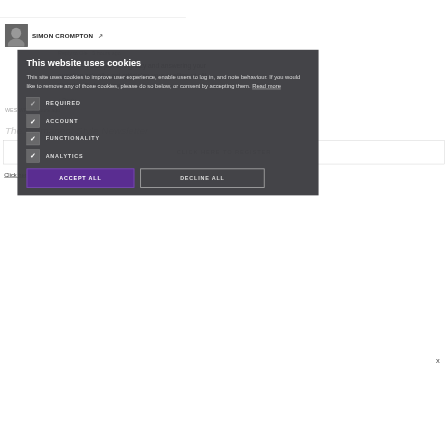[Figure (screenshot): Background webpage showing Simon Crompton author profile with avatar photo, name, comment text about being lazy and answering question, reply links, and page elements partially obscured by cookie consent modal overlay]
This website uses cookies
This site uses cookies to improve user experience, enable users to log in, and note behaviour. If you would like to remove any of those cookies, please do so below, or consent by accepting them. Read more
REQUIRED
ACCOUNT
FUNCTIONALITY
ANALYTICS
ACCEPT ALL
DECLINE ALL
Click here to read our Privacy Policy